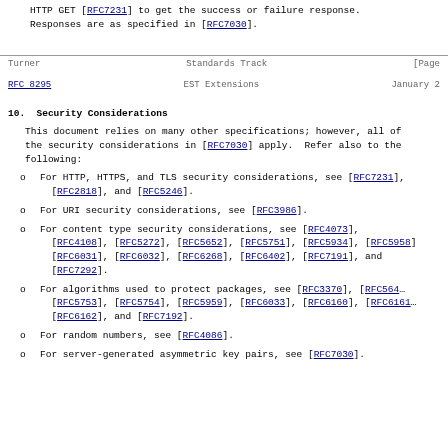HTTP GET [RFC7231] to get the success or failure response. Responses are as specified in [RFC7030].
Turner                    Standards Track                    [Page
RFC 8295                EST Extensions                January 2...
10.  Security Considerations
This document relies on many other specifications; however, all of the security considerations in [RFC7030] apply.  Refer also to the following:
For HTTP, HTTPS, and TLS security considerations, see [RFC7231], [RFC2818], and [RFC5246].
For URI security considerations, see [RFC3986].
For content type security considerations, see [RFC4073], [RFC4108], [RFC5272], [RFC5652], [RFC5751], [RFC5934], [RFC5958], [RFC6031], [RFC6032], [RFC6268], [RFC6402], [RFC7191], and [RFC7292].
For algorithms used to protect packages, see [RFC3370], [RFC5640...], [RFC5753], [RFC5754], [RFC5959], [RFC6033], [RFC6160], [RFC6161...], [RFC6162], and [RFC7192].
For random numbers, see [RFC4086].
For server-generated asymmetric key pairs, see [RFC7030].